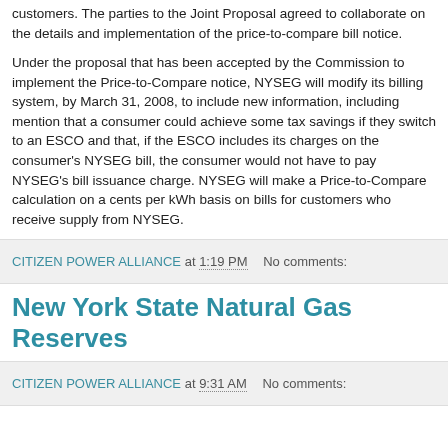customers. The parties to the Joint Proposal agreed to collaborate on the details and implementation of the price-to-compare bill notice.
Under the proposal that has been accepted by the Commission to implement the Price-to-Compare notice, NYSEG will modify its billing system, by March 31, 2008, to include new information, including mention that a consumer could achieve some tax savings if they switch to an ESCO and that, if the ESCO includes its charges on the consumer's NYSEG bill, the consumer would not have to pay NYSEG's bill issuance charge. NYSEG will make a Price-to-Compare calculation on a cents per kWh basis on bills for customers who receive supply from NYSEG.
CITIZEN POWER ALLIANCE at 1:19 PM   No comments:
New York State Natural Gas Reserves
CITIZEN POWER ALLIANCE at 9:31 AM   No comments: